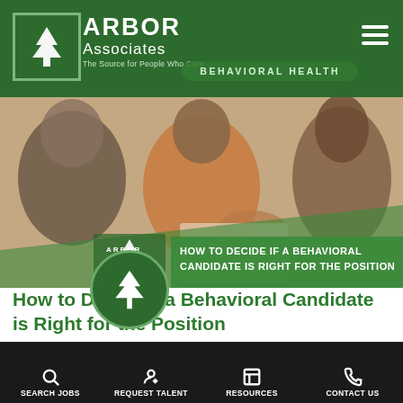ARBOR Associates — The Source for People Who Care | BEHAVIORAL HEALTH
[Figure (photo): Photo of people shaking hands in a professional/counseling setting, with an Arbor Associates branded overlay showing the article title 'HOW TO DECIDE IF A BEHAVIORAL CANDIDATE IS RIGHT FOR THE POSITION']
How to Decide If a Behavioral Candidate is Right for the Position
There is a constant struggle within the health care industry to find and keep skilled staff members. The national health care staff shortage
SEARCH JOBS | REQUEST TALENT | RESOURCES | CONTACT US